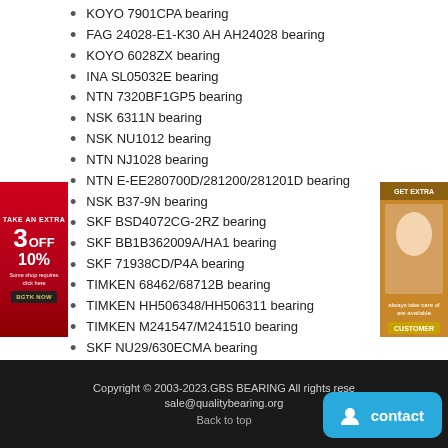KOYO 7901CPA bearing
FAG 24028-E1-K30 AH AH24028 bearing
KOYO 6028ZX bearing
INA SL05032E bearing
NTN 7320BF1GP5 bearing
NSK 6311N bearing
NSK NU1012 bearing
NTN NJ1028 bearing
NTN E-EE280700D/281200/281201D bearing
NSK B37-9N bearing
SKF BSD4072CG-2RZ bearing
SKF BB1B362009A/HA1 bearing
SKF 71938CD/P4A bearing
TIMKEN 68462/68712B bearing
TIMKEN HH506348/HH506311 bearing
TIMKEN M241547/M241510 bearing
SKF NU29/630ECMA bearing
Copyright © 2003-2023.GBS BEARING All rights reserved.  sale@qualitybearing.org  Back to top